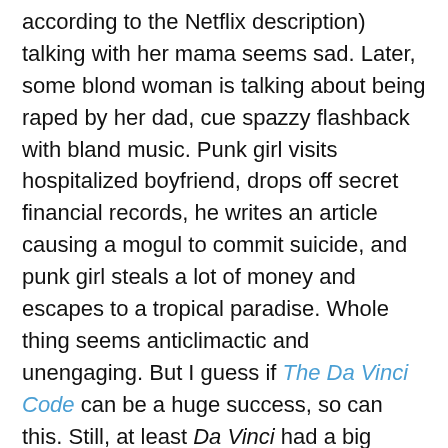according to the Netflix description) talking with her mama seems sad. Later, some blond woman is talking about being raped by her dad, cue spazzy flashback with bland music. Punk girl visits hospitalized boyfriend, drops off secret financial records, he writes an article causing a mogul to commit suicide, and punk girl steals a lot of money and escapes to a tropical paradise. Whole thing seems anticlimactic and unengaging. But I guess if The Da Vinci Code can be a huge success, so can this. Still, at least Da Vinci had a big ending (the codex is shattered! Amelie is Jesus's daughter!) to justify all the dreary exposition. This one wasn't even exciting enough for me to check out the last ten minutes of the sequels.
Vampire Girl vs. Frankenstein Girl (2009, Nishimura & Tomomatsu)
Dubbing!! The fakest CGI ever. Oh, this is one of those